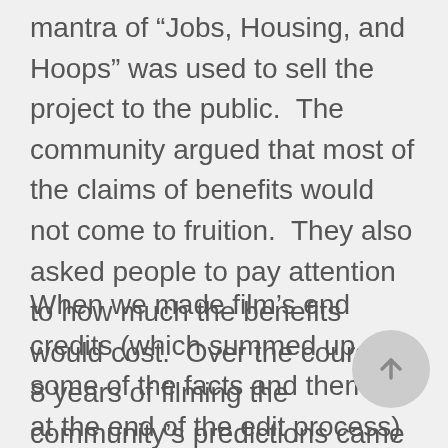mantra of “Jobs, Housing, and Hoops” was used to sell the project to the public.  The community argued that most of the claims of benefits would not come to fruition.  They also asked people to pay attention to how much the benefits would cost.  Over the course of 8 years of filming the community’s predictions came true.
When we made film’s end credits (which summed up some of the facts and themes at the end of the edit process) there were very few workers on the project site and no housing construction in sight.  Now that there is a mad rush to finish the arena before it opens in September the number of workers